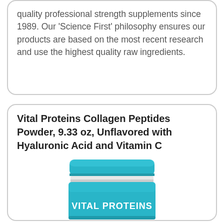quality professional strength supplements since 1989. Our 'Science First' philosophy ensures our products are based on the most recent research and use the highest quality raw ingredients.
Vital Proteins Collagen Peptides Powder, 9.33 oz, Unflavored with Hyaluronic Acid and Vitamin C
[Figure (photo): Photo of Vital Proteins collagen peptides powder jar with a teal/blue lid and teal label reading VITAL PROTEINS]